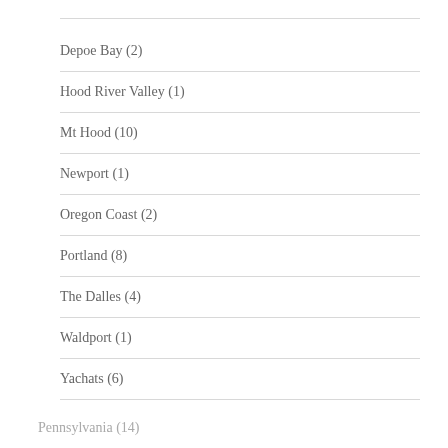Depoe Bay (2)
Hood River Valley (1)
Mt Hood (10)
Newport (1)
Oregon Coast (2)
Portland (8)
The Dalles (4)
Waldport (1)
Yachats (6)
Pennsylvania (14)